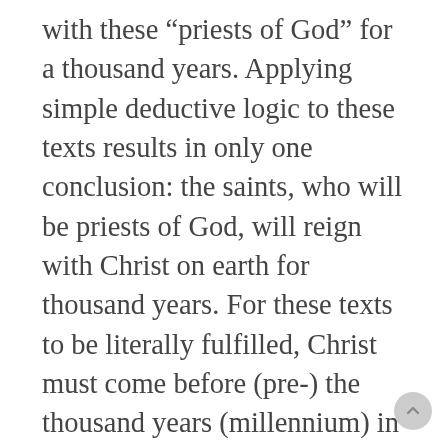with these “priests of God” for a thousand years. Applying simple deductive logic to these texts results in only one conclusion: the saints, who will be priests of God, will reign with Christ on earth for thousand years. For these texts to be literally fulfilled, Christ must come before (pre-) the thousand years (millennium) in order to establish His kingdom rule on the earth.